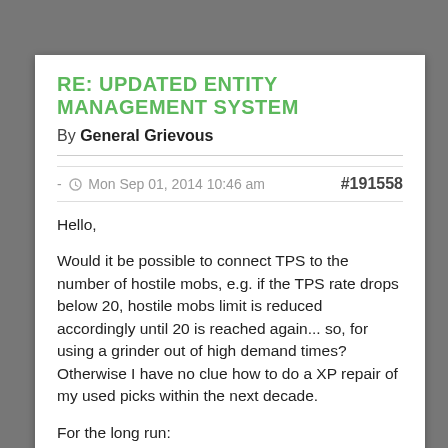RE: UPDATED ENTITY MANAGEMENT SYSTEM
By General Grievous
- Mon Sep 01, 2014 10:46 am   #191558
Hello,
Would it be possible to connect TPS to the number of hostile mobs, e.g. if the TPS rate drops below 20, hostile mobs limit is reduced accordingly until 20 is reached again... so, for using a grinder out of high demand times? Otherwise I have no clue how to do a XP repair of my used picks within the next decade.
For the long run:
- What kind of hardware equipment is needed to go back where we were?
- How about implementing a process in which people are informed about the exact timing... I know, there might be a case in which the expected discussions are not really what